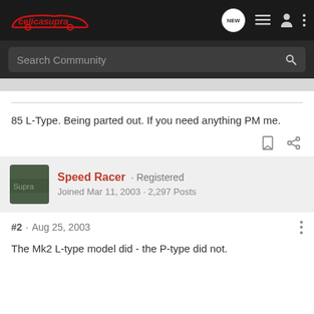celicasupra — Search Community
85 L-Type. Being parted out. If you need anything PM me.
Speed Racer · Registered
Joined Mar 11, 2003 · 2,297 Posts
#2 · Aug 25, 2003
The Mk2 L-type model did - the P-type did not.